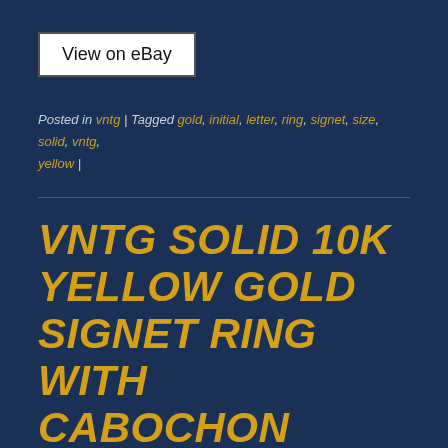[Figure (screenshot): View on eBay button — white rectangle with black text]
Posted in vntg | Tagged gold, initial, letter, ring, signet, size, solid, vntg, yellow |
VNTG SOLID 10K YELLOW GOLD SIGNET RING WITH CABOCHON PURPLE STAR SAPPHIRE SZ10 MEN